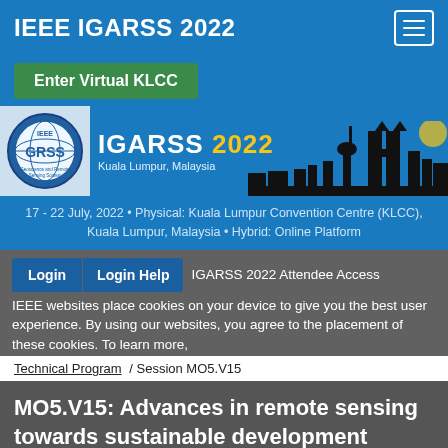IEEE IGARSS 2022
Enter Virtual KLCC
[Figure (logo): IEEE GRSS logo circle and IGARSS 2022 Kuala Lumpur, Malaysia banner with Kuala Lumpur skyline silhouette]
17 - 22 July, 2022 • Physical: Kuala Lumpur Convention Centre (KLCC), Kuala Lumpur, Malaysia • Hybrid: Online Platform
IEEE websites place cookies on your device to give you the best user experience. By using our websites, you agree to the placement of these cookies. To learn more,
Login  Login Help  IGARSS 2022 Attendee Access
Technical Program / Session MO5.V15
MO5.V15: Advances in remote sensing towards sustainable development goals- PART I
Accept & Close
Mon, 18 Jul, 19:50 -   Location: Virtual